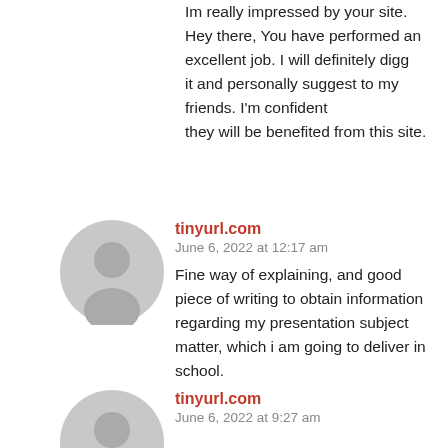Im really impressed by your site.
Hey there, You have performed an excellent job. I will definitely digg
it and personally suggest to my friends. I'm confident
they will be benefited from this site.
tinyurl.com
June 6, 2022 at 12:17 am
Fine way of explaining, and good piece of writing to obtain information regarding my presentation subject matter, which i am going to deliver in school.
tinyurl.com
June 6, 2022 at 9:27 am